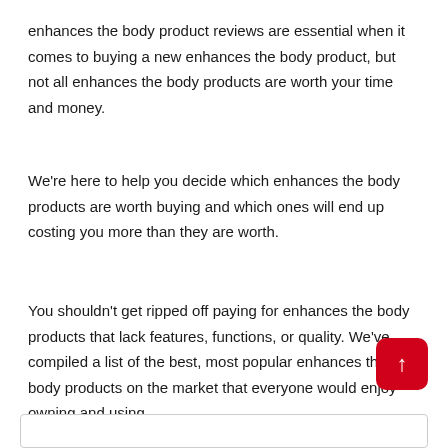enhances the body product reviews are essential when it comes to buying a new enhances the body product, but not all enhances the body products are worth your time and money.
We're here to help you decide which enhances the body products are worth buying and which ones will end up costing you more than they are worth.
You shouldn't get ripped off paying for enhances the body products that lack features, functions, or quality. We've compiled a list of the best, most popular enhances the body products on the market that everyone would enjoy owning and using.